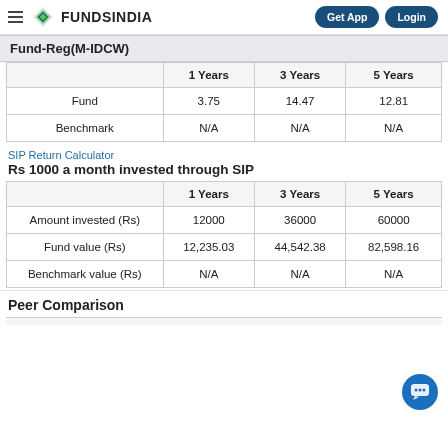FUNDSINDIA  Get App  Login
Fund-Reg(M-IDCW)
|  | 1 Years | 3 Years | 5 Years |
| --- | --- | --- | --- |
| Fund | 3.75 | 14.47 | 12.81 |
| Benchmark | N/A | N/A | N/A |
SIP Return Calculator
Rs 1000 a month invested through SIP
|  | 1 Years | 3 Years | 5 Years |
| --- | --- | --- | --- |
| Amount invested (Rs) | 12000 | 36000 | 60000 |
| Fund value (Rs) | 12,235.03 | 44,542.38 | 82,598.16 |
| Benchmark value (Rs) | N/A | N/A | N/A |
Peer Comparison